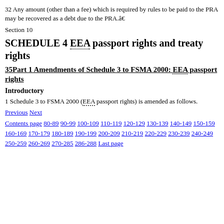32 Any amount (other than a fee) which is required by rules to be paid to the PRA may be recovered as a debt due to the PRA.â¦
Section 10
SCHEDULE 4 EEA passport rights and treaty rights
35Part 1 Amendments of Schedule 3 to FSMA 2000: EEA passport rights
Introductory
1 Schedule 3 to FSMA 2000 (EEA passport rights) is amended as follows.
Previous Next
Contents page 80-89 90-99 100-109 110-119 120-129 130-139 140-149 150-159 160-169 170-179 180-189 190-199 200-209 210-219 220-229 230-239 240-249 250-259 260-269 270-285 286-288 Last page